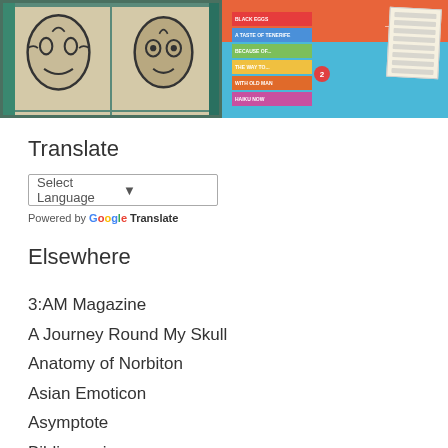[Figure (photo): Two artwork images side by side. Left: framed artwork showing four face sketches in black ink on a teal/green background. Right: colorful painting with book spines stacked vertically with text on an orange and blue background, with a handwritten note paper.]
Translate
Select Language (dropdown) — Powered by Google Translate
Elsewhere
3:AM Magazine
A Journey Round My Skull
Anatomy of Norbiton
Asian Emoticon
Asymptote
Bibliomanic